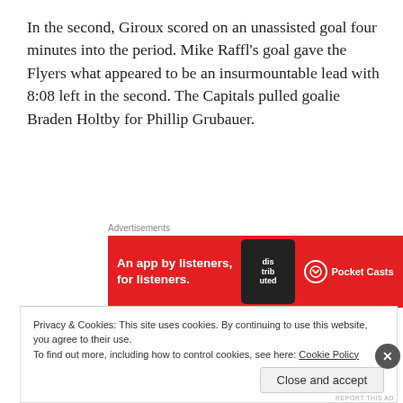In the second, Giroux scored on an unassisted goal four minutes into the period. Mike Raffl's goal gave the Flyers what appeared to be an insurmountable lead with 8:08 left in the second. The Capitals pulled goalie Braden Holtby for Phillip Grubauer.
[Figure (other): Red advertisement banner for Pocket Casts app reading 'An app by listeners, for listeners.' with phone graphic and Pocket Casts logo]
Washington scored its first goal of the game on a goal by
Privacy & Cookies: This site uses cookies. By continuing to use this website, you agree to their use.
To find out more, including how to control cookies, see here: Cookie Policy
Close and accept